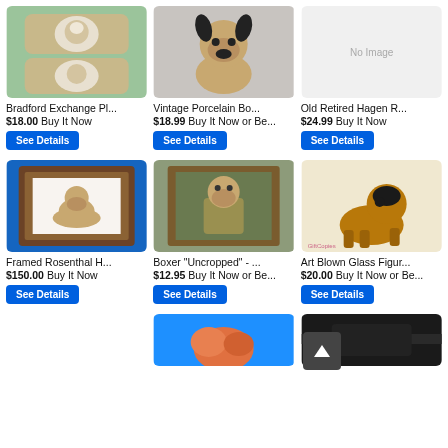[Figure (photo): Bradford Exchange plague stones with poodle dog relief art on green background]
Bradford Exchange Pl...
$18.00 Buy It Now
See Details
[Figure (photo): Vintage porcelain boxer/German Shepherd dog figurine on gray background]
Vintage Porcelain Bo...
$18.99 Buy It Now or Be...
See Details
[Figure (photo): Old Retired Hagen Renaker dog figurine (not shown, no image in top right)]
Old Retired Hagen R...
$24.99 Buy It Now
See Details
[Figure (photo): Framed Rosenthal Boxer dog print in ornate gold-brown frame on blue background]
Framed Rosenthal H...
$150.00 Buy It Now
See Details
[Figure (photo): Boxer Uncropped dog portrait painting in antique frame - anthropomorphic dog in military uniform]
Boxer "Uncropped" - ...
$12.95 Buy It Now or Be...
See Details
[Figure (photo): Art blown glass Boxer dog figurine in amber/brown tones]
Art Blown Glass Figur...
$20.00 Buy It Now or Be...
See Details
[Figure (photo): Partial image - orange/salmon colored item on blue background (bottom partial)]
[Figure (photo): Partial image - dark leather or black item (bottom partial)]